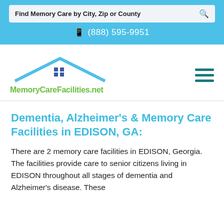Find Memory Care by City, Zip or County
(888) 595-9951
[Figure (logo): MemoryCareFacilities.net logo with house/roof icon in blue and green text]
Dementia, Alzheimer’s & Memory Care Facilities in EDISON, GA:
There are 2 memory care facilities in EDISON, Georgia. The facilities provide care to senior citizens living in EDISON throughout all stages of dementia and Alzheimer’s disease. These